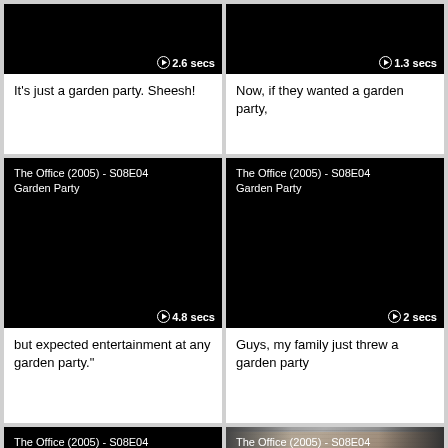[Figure (screenshot): Video thumbnail black screen with play icon and duration 2.6 secs]
It's just a garden party. Sheesh!
[Figure (screenshot): Video thumbnail black screen with play icon and duration 1.3 secs]
Now, if they wanted a garden party,
[Figure (screenshot): Video thumbnail black with episode label The Office (2005) - S08E04 Garden Party and duration 4.8 secs]
but expected entertainment at any garden party."
[Figure (screenshot): Video thumbnail black with episode label The Office (2005) - S08E04 Garden Party and duration 2 secs]
Guys, my family just threw a garden party
[Figure (screenshot): Video thumbnail black with episode label The Office (2005) - S08E04 Garden Party and duration 2 secs]
[Figure (screenshot): Video thumbnail with actual video frame showing The Office (2005) - S08E04 Garden Party with actor visible and credits MINDY KALING, ELLIE KEMPER, ANGELA KINSEY, PAUL LIEBERSTEIN, duration 3 secs]